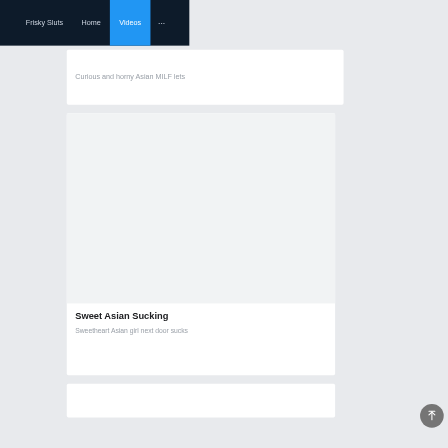Frisky Sluts   Home   Videos   ...
Curious and horny Asian MILF lets
[Figure (screenshot): White card with empty image area placeholder]
Sweet Asian Sucking
Sweetheart Asian girl next door sucks